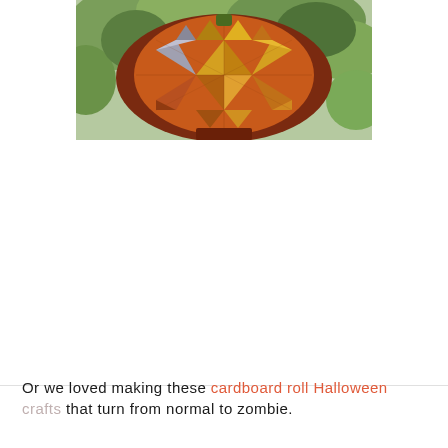[Figure (photo): A decorative patchwork pumpkin or circular quilted craft item made of triangular fabric pieces in orange, yellow, gold, brown, and gray tones, mounted on a dark reddish-brown frame or stand, photographed outdoors with green foliage in the background.]
Or we loved making these cardboard roll Halloween crafts that turn from normal to zombie.